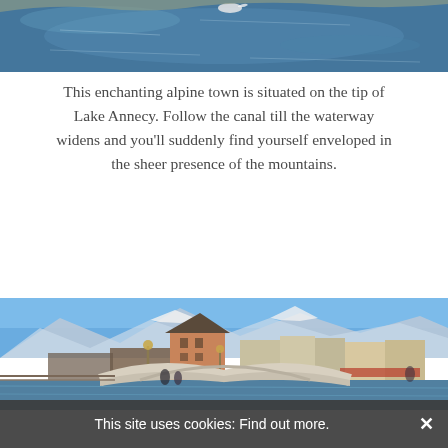[Figure (photo): Top portion of a lake or canal with blue-green water and reflections, cropped at the top of the page]
This enchanting alpine town is situated on the tip of Lake Annecy. Follow the canal till the waterway widens and you'll suddenly find yourself enveloped in the sheer presence of the mountains.
[Figure (photo): Alpine town of Annecy showing a stone bridge over a canal, colorful buildings, street lamps, snow-capped mountains in the background, and blue sky]
This site uses cookies: Find out more.